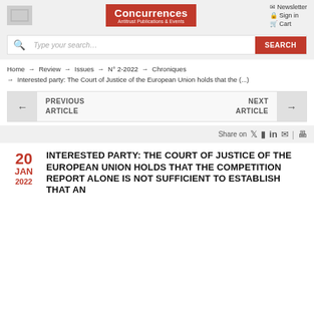Concurrences Antitrust Publications & Events | Newsletter | Sign in | Cart
Type your search… SEARCH
Home → Review → Issues → N° 2-2022 → Chroniques → Interested party: The Court of Justice of the European Union holds that the (...)
← PREVIOUS ARTICLE   NEXT ARTICLE →
Share on
INTERESTED PARTY: THE COURT OF JUSTICE OF THE EUROPEAN UNION HOLDS THAT THE COMPETITION REPORT ALONE IS NOT SUFFICIENT TO ESTABLISH THAT AN
20 JAN 2022